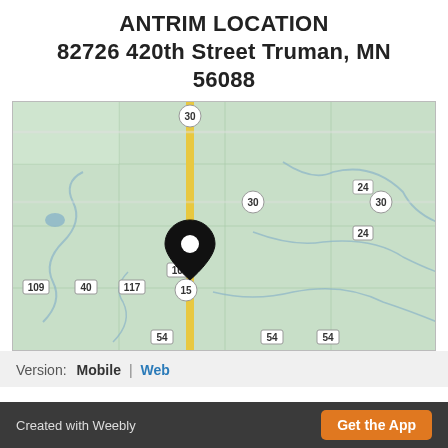ANTRIM LOCATION
82726 420th Street Truman, MN 56088
[Figure (map): Road map showing Antrim Location at 82726 420th Street Truman MN 56088 with a location pin marker on route 107. Roads labeled 30, 24, 109, 40, 117, 15, 54 visible. Yellow vertical road running through center.]
Version:  Mobile  |  Web
Created with Weebly   Get the App